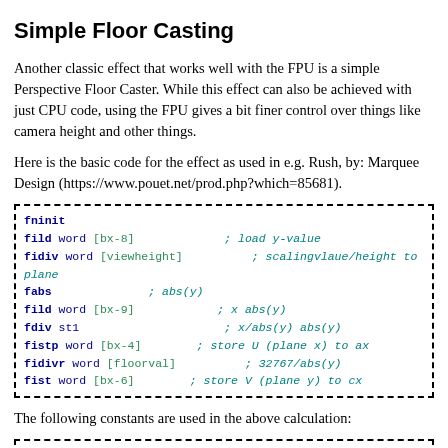Simple Floor Casting
Another classic effect that works well with the FPU is a simple Perspective Floor Caster. While this effect can also be achieved with just CPU code, using the FPU gives a bit finer control over things like camera height and other things.
Here is the basic code for the effect as used in e.g. Rush, by: Marquee Design (https://www.pouet.net/prod.php?which=85681).
[Figure (screenshot): Assembly code block in a dashed border box showing FPU floor casting instructions: fninit, fild word [bx-8], fidiv word [viewheight], fabs, fild word [bx-9], fdiv st1, fistp word [bx-4], fidivr word [floorval], fist word [bx-6] with inline comments]
The following constants are used in the above calculation:
[Figure (screenshot): Assembly constants code block in a dashed border box showing: floorval dw 32767]